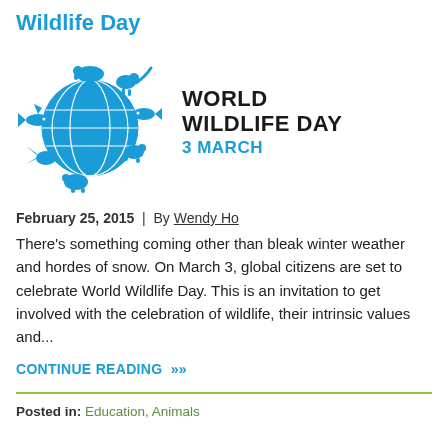Wildlife Day
[Figure (logo): World Wildlife Day logo — a globe with animal silhouettes (elephant, fish, turtle, bird, etc.) arranged around it in blue, with text 'WORLD WILDLIFE DAY 3 MARCH']
February 25, 2015 | By Wendy Ho
There's something coming other than bleak winter weather and hordes of snow. On March 3, global citizens are set to celebrate World Wildlife Day. This is an invitation to get involved with the celebration of wildlife, their intrinsic values and...
CONTINUE READING »
Posted in: Education, Animals